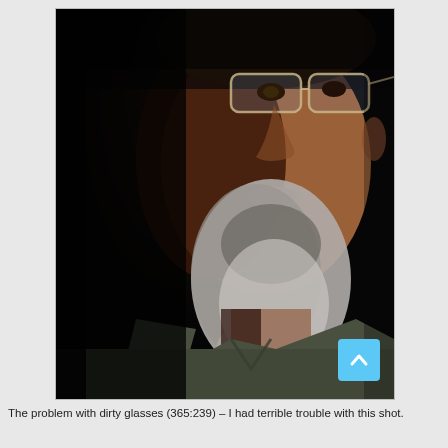[Figure (photo): Close-up portrait of a middle-aged man with a grey-and-dark beard and mustache, wearing rimless glasses and a dark olive/grey polo shirt. The left side of his face is in shadow against a very dark background. Dramatic low-key lighting.]
The problem with dirty glasses (365:239) – I had terrible trouble with this shot.